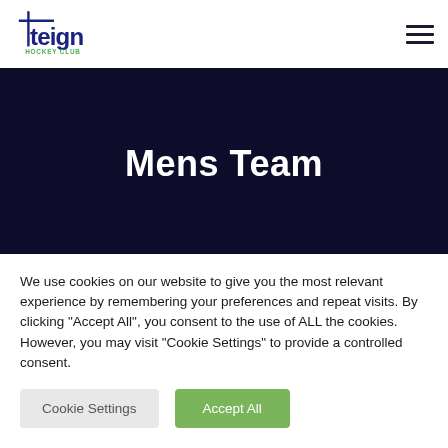[Figure (logo): Teign Hockey Club logo with cross/plus symbol and text 'teign HOCKEY CLUB' in navy and green]
[Figure (other): Hamburger/menu icon with three horizontal bars]
Mens Team
We use cookies on our website to give you the most relevant experience by remembering your preferences and repeat visits. By clicking "Accept All", you consent to the use of ALL the cookies. However, you may visit "Cookie Settings" to provide a controlled consent.
Cookie Settings
Accept All